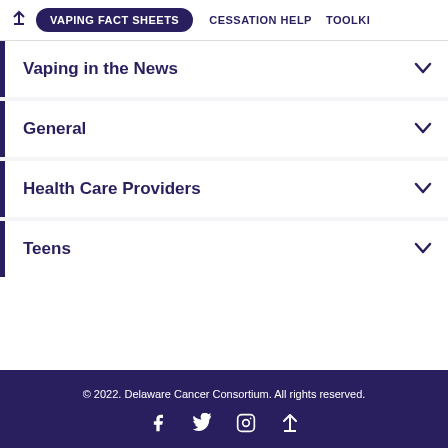↑  VAPING FACT SHEETS   CESSATION HELP   TOOLKIT
Vaping in the News
General
Health Care Providers
Teens
© 2022. Delaware Cancer Consortium. All rights reserved.